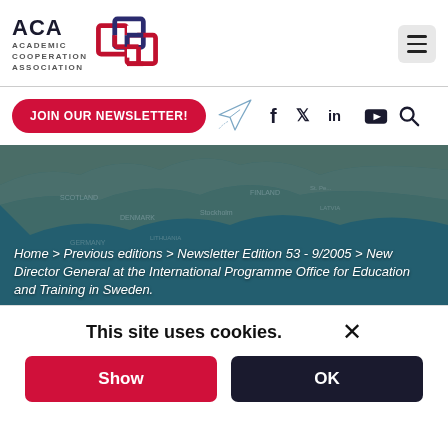ACA ACADEMIC COOPERATION ASSOCIATION
JOIN OUR NEWSLETTER!
[Figure (screenshot): Map of Northern Europe with teal/blue overlay showing countries including Scotland, Denmark, Sweden, Finland, Baltic states, Germany, Lithuania, Latvia. Breadcrumb navigation text overlaid: Home > Previous editions > Newsletter Edition 53 - 9/2005 > New Director General at the International Programme Office for Education and Training in Sweden.]
Home > Previous editions > Newsletter Edition 53 - 9/2005 > New Director General at the International Programme Office for Education and Training in Sweden.
This site uses cookies.
Show
OK